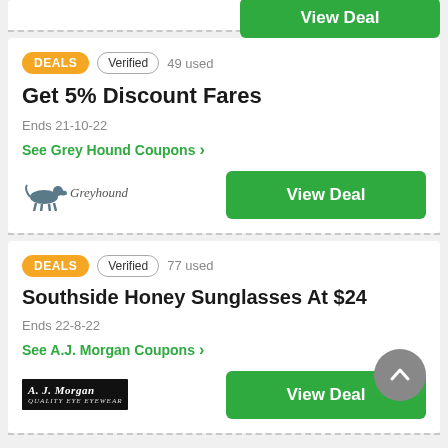[Figure (logo): View Deal green button partial (top card, cropped)]
DEALS   Verified   49 used
Get 5% Discount Fares
Ends 21-10-22
See Grey Hound Coupons ›
[Figure (logo): Greyhound logo with greyhound dog silhouette and cursive text]
View Deal
DEALS   Verified   77 used
Southside Honey Sunglasses At $24
Ends 22-8-22
See A.J. Morgan Coupons ›
[Figure (logo): A.J. Morgan eyewear logo, black background with white text]
View Deal